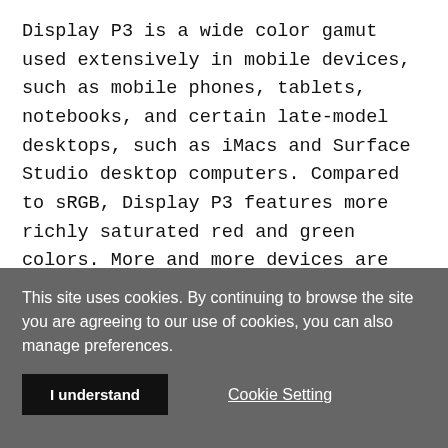Display P3 is a wide color gamut used extensively in mobile devices, such as mobile phones, tablets, notebooks, and certain late-model desktops, such as iMacs and Surface Studio desktop computers. Compared to sRGB, Display P3 features more richly saturated red and green colors. More and more devices are incorporating Display P3 panels in their devices, so it is reasonable for designers to use Display P3 monitors when creating their art. An sRGB monitor cannot reproduce the vibrant colors Display...
This site uses cookies. By continuing to browse the site you are agreeing to our use of cookies, you can also manage preferences.
I understand
Cookie Setting
Find More